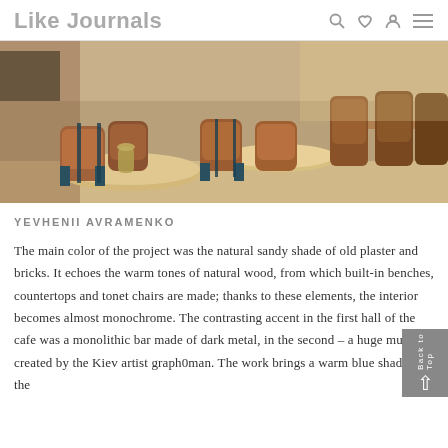Like Journals
[Figure (photo): Interior of a cafe with round wooden tables, thonet-style wooden chairs with dark metal frames, and warm sandy/brick walls in the background.]
YEVHENII AVRAMENKO
The main color of the project was the natural sandy shade of old plaster and bricks. It echoes the warm tones of natural wood, from which built-in benches, countertops and tonet chairs are made; thanks to these elements, the interior becomes almost monochrome. The contrasting accent in the first hall of the cafe was a monolithic bar made of dark metal, in the second – a huge mural created by the Kiev artist graph0man. The work brings a warm blue shade to the